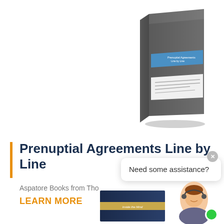[Figure (photo): Book cover for 'Prenuptial Agreements Line by Line' from Aspatore Books, shown at an angle with a dark grey cover and blue title band]
Prenuptial Agreements Line by Line
Aspatore Books from Tho
LEARN MORE
Need some assistance?
[Figure (photo): Partial view of another book with a dark blue cover at the bottom of the page]
[Figure (photo): Customer service agent photo with headset and green online indicator dot]